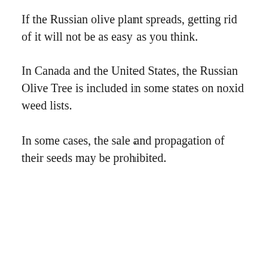If the Russian olive plant spreads, getting rid of it will not be as easy as you think.
In Canada and the United States, the Russian Olive Tree is included in some states on noxid weed lists.
In some cases, the sale and propagation of their seeds may be prohibited.